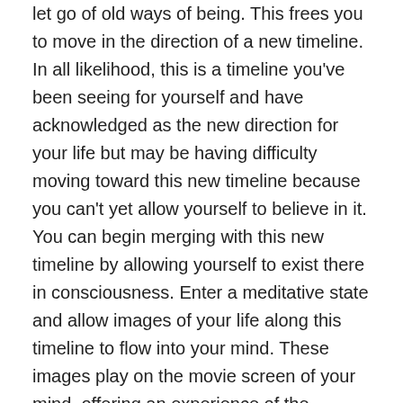let go of old ways of being. This frees you to move in the direction of a new timeline. In all likelihood, this is a timeline you've been seeing for yourself and have acknowledged as the new direction for your life but may be having difficulty moving toward this new timeline because you can't yet allow yourself to believe in it. You can begin merging with this new timeline by allowing yourself to exist there in consciousness. Enter a meditative state and allow images of your life along this timeline to flow into your mind. These images play on the movie screen of your mind, offering an experience of the sensory and feeling states your self of that timeline is experiencing.
Allow yourself to believe in this timeline and choose it regardless of whether you know any of the steps you would follow to get there. It's enough to perceive the new